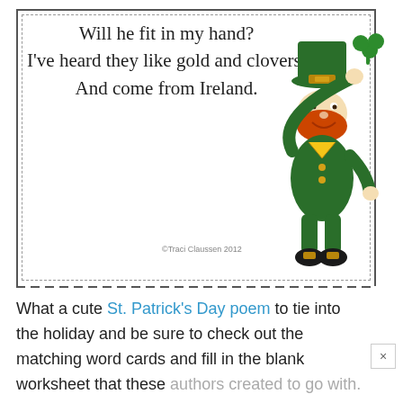[Figure (illustration): A card with dashed and solid border containing a poem about a leprechaun, with a cartoon leprechaun illustration on the right side wearing a green hat and holding a shamrock. Copyright text reads: ©Traci Claussen 2012]
What a cute St. Patrick's Day poem to tie into the holiday and be sure to check out the matching word cards and fill in the blank worksheet that these authors created to go with.